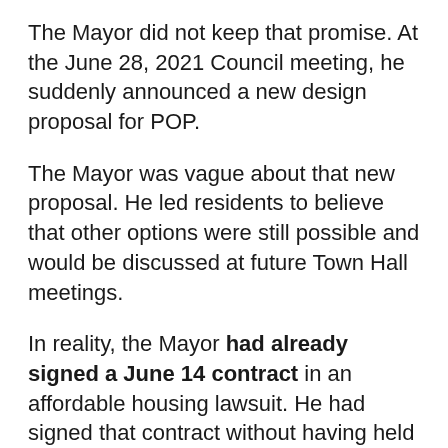The Mayor did not keep that promise. At the June 28, 2021 Council meeting, he suddenly announced a new design proposal for POP.
The Mayor was vague about that new proposal. He led residents to believe that other options were still possible and would be discussed at future Town Hall meetings.
In reality, the Mayor had already signed a June 14 contract in an affordable housing lawsuit. He had signed that contract without having held a single Town Hall – or even having resumed in-person Council meetings after Covid.
http://chathamchoice.org/wp